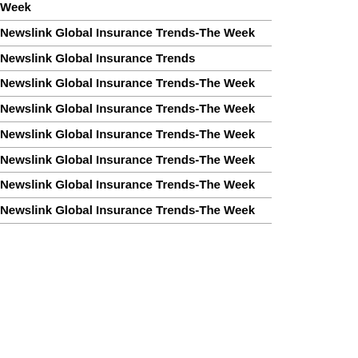Week
Newslink Global Insurance Trends-The Week
Newslink Global Insurance Trends
Newslink Global Insurance Trends-The Week
Newslink Global Insurance Trends-The Week
Newslink Global Insurance Trends-The Week
Newslink Global Insurance Trends-The Week
Newslink Global Insurance Trends-The Week
Newslink Global Insurance Trends-The Week